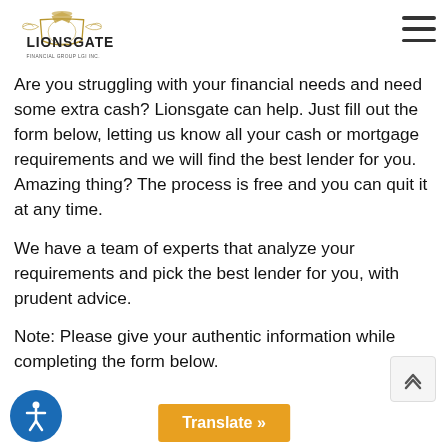Lionsgate Financial Group LGI Inc.
Need Some Quick Cash? Let Us Help
Are you struggling with your financial needs and need some extra cash? Lionsgate can help. Just fill out the form below, letting us know all your cash or mortgage requirements and we will find the best lender for you. Amazing thing? The process is free and you can quit it at any time.
We have a team of experts that analyze your requirements and pick the best lender for you, with prudent advice.
Note: Please give your authentic information while completing the form below.